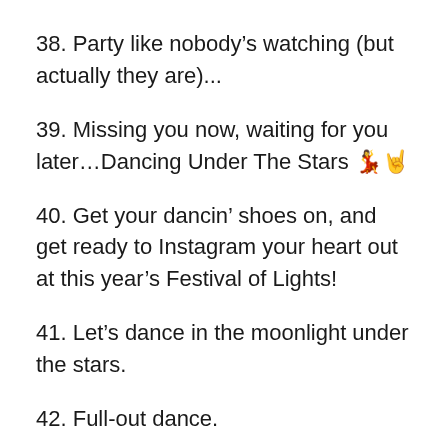38. Party like nobody’s watching (but actually they are)...
39. Missing you now, waiting for you later…Dancing Under The Stars 💃🤘
40. Get your dancin’ shoes on, and get ready to Instagram your heart out at this year’s Festival of Lights!
41. Let’s dance in the moonlight under the stars.
42. Full-out dance.